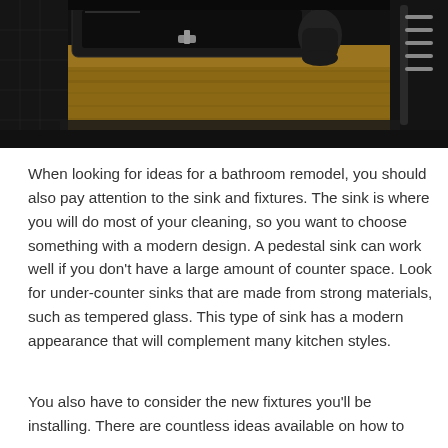[Figure (photo): Modern black bathroom with a large black rectangular bathtub/sink on a wooden countertop, black walls and tiles, wooden floor, black toilet visible in background, dark industrial style interior.]
When looking for ideas for a bathroom remodel, you should also pay attention to the sink and fixtures. The sink is where you will do most of your cleaning, so you want to choose something with a modern design. A pedestal sink can work well if you don't have a large amount of counter space. Look for under-counter sinks that are made from strong materials, such as tempered glass. This type of sink has a modern appearance that will complement many kitchen styles.
You also have to consider the new fixtures you'll be installing. There are countless ideas available on how to